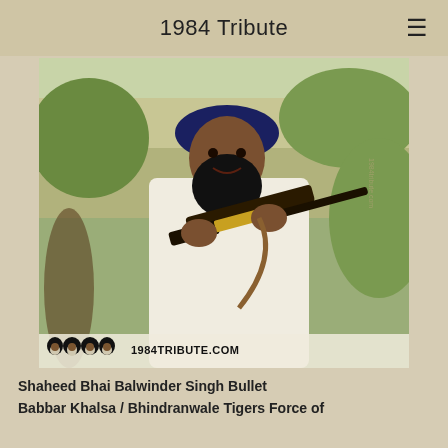1984 Tribute
[Figure (photo): Black and white / color photograph of a Sikh man with a full black beard wearing a dark turban and white kurta, holding an AK-style rifle. The image has a 1984TRIBUTE.COM watermark and logo at the bottom.]
Shaheed Bhai Balwinder Singh Bullet
Babbar Khalsa / Bhindranwale Tigers Force of